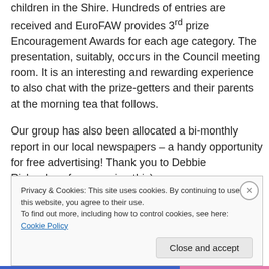children in the Shire. Hundreds of entries are received and EuroFAW provides 3rd prize Encouragement Awards for each age category. The presentation, suitably, occurs in the Council meeting room. It is an interesting and rewarding experience to also chat with the prize-getters and their parents at the morning tea that follows.
Our group has also been allocated a bi-monthly report in our local newspapers – a handy opportunity for free advertising! Thank you to Debbie Richardson for arranging this).
Privacy & Cookies: This site uses cookies. By continuing to use this website, you agree to their use.
To find out more, including how to control cookies, see here: Cookie Policy